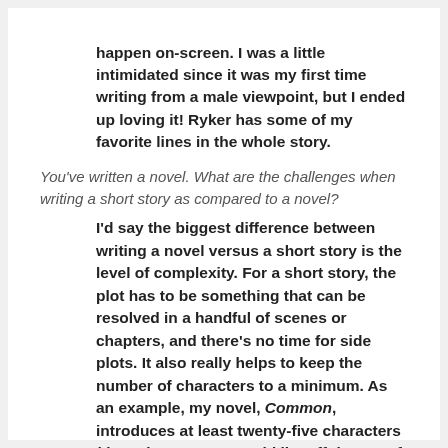happen on-screen. I was a little intimidated since it was my first time writing from a male viewpoint, but I ended up loving it! Ryker has some of my favorite lines in the whole story.
You've written a novel. What are the challenges when writing a short story as compared to a novel?
I'd say the biggest difference between writing a novel versus a short story is the level of complexity. For a short story, the plot has to be something that can be resolved in a handful of scenes or chapters, and there's no time for side plots. It also really helps to keep the number of characters to a minimum. As an example, my novel, Common, introduces at least twenty-five characters (that's how many I could list off the top of my head!), while "Return to